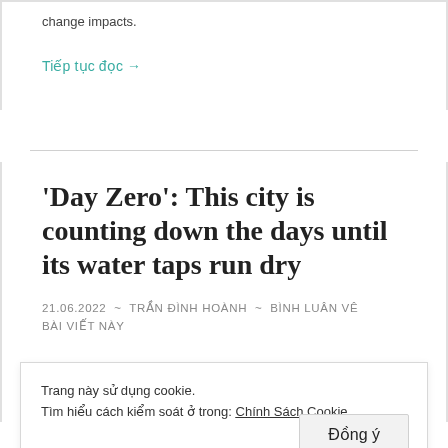change impacts.
Tiếp tục đọc →
'Day Zero': This city is counting down the days until its water taps run dry
21.06.2022 ~ TRẦN ĐÌNH HOÀNH ~ BÌNH LUÂN VÊ BÀI VIẾT NÀY
Trang này sử dụng cookie.
Tìm hiểu cách kiểm soát ở trong: Chính Sách Cookie
Đồng ý
[Figure (photo): Partial view of a photo strip at the bottom of the page, showing figures in blue.]